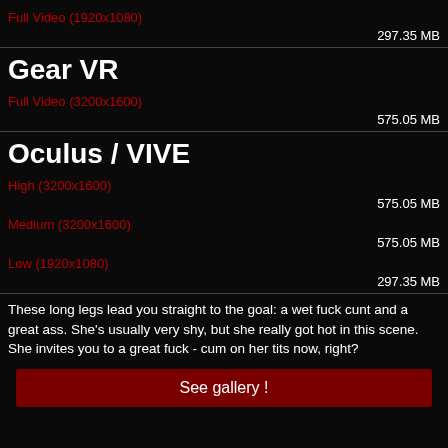Full Video (1920x1080)
297.35 MB
Gear VR
Full Video (3200x1600)
575.05 MB
Oculus / VIVE
High (3200x1600)
575.05 MB
Medium (3200x1600)
575.05 MB
Low (1920x1080)
297.35 MB
These long legs lead you straight to the goal: a wet fuck cunt and a great ass. She's usually very shy, but she really got hot in this scene. She invites you to a great fuck - cum on her tits now, right?
See gallery !